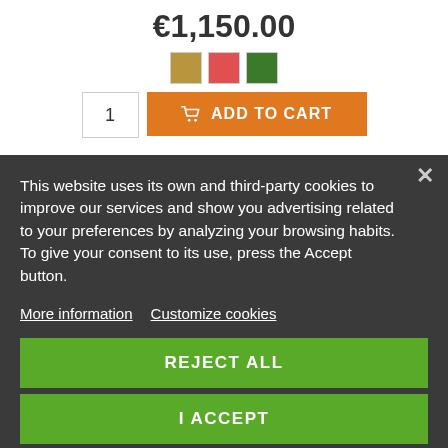€1,150.00
[Figure (other): Three color swatches: tan/gold, red, dark green]
[Figure (other): Quantity input box showing 1 and orange ADD TO CART button with cart icon]
This website uses its own and third-party cookies to improve our services and show you advertising related to your preferences by analyzing your browsing habits. To give your consent to its use, press the Accept button.
More information   Customize cookies
REJECT ALL
I ACCEPT
NAMMATJ 3 Hilleberg
€1,040.00